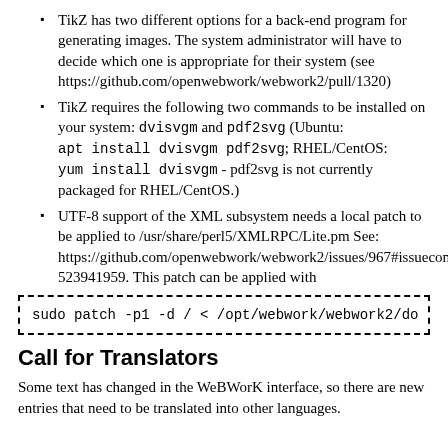TikZ has two different options for a back-end program for generating images. The system administrator will have to decide which one is appropriate for their system (see https://github.com/openwebwork/webwork2/pull/1320)
TikZ requires the following two commands to be installed on your system: dvisvgm and pdf2svg (Ubuntu: apt install dvisvgm pdf2svg; RHEL/CentOS: yum install dvisvgm - pdf2svg is not currently packaged for RHEL/CentOS.)
UTF-8 support of the XML subsystem needs a local patch to be applied to /usr/share/perl5/XMLRPC/Lite.pm See: https://github.com/openwebwork/webwork2/issues/967#issuecomment-523941959. This patch can be applied with
[Figure (screenshot): Dashed-border code block showing: sudo patch -p1 -d / < /opt/webwork/webwork2/do]
Call for Translators
Some text has changed in the WeBWorK interface, so there are new entries that need to be translated into other languages.